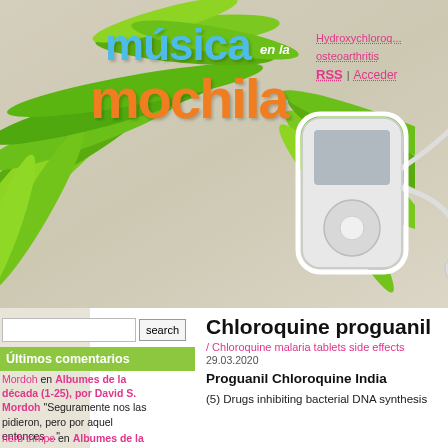[Figure (illustration): Música en la mochila website header with logo featuring tropical green palm leaves background, an iPod illustration with earphones, and colorful text logo reading 'música en la mochila' in blue and orange.]
Hydroxychloroquine osteoarthritis
RSS | Acceder
search
Últimos comentarios
Mordoh en Albumes de la década (1-25), por David S. Mordoh "Seguramente nos las pidieron, pero por aquel entonces ..."
herb trimpe en Albumes de la
Chloroquine proguanil
/ Chloroquine malaria tablets side effects
29.03.2020
Proguanil Chloroquine India
(5) Drugs inhibiting bacterial DNA synthesis